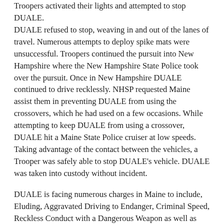Troopers activated their lights and attempted to stop DUALE. DUALE refused to stop, weaving in and out of the lanes of travel. Numerous attempts to deploy spike mats were unsuccessful. Troopers continued the pursuit into New Hampshire where the New Hampshire State Police took over the pursuit. Once in New Hampshire DUALE continued to drive recklessly. NHSP requested Maine assist them in preventing DUALE from using the crossovers, which he had used on a few occasions. While attempting to keep DUALE from using a crossover, DUALE hit a Maine State Police cruiser at low speeds. Taking advantage of the contact between the vehicles, a Trooper was safely able to stop DUALE's vehicle. DUALE was taken into custody without incident.
DUALE is facing numerous charges in Maine to include, Eluding, Aggravated Driving to Endanger, Criminal Speed, Reckless Conduct with a Dangerous Weapon as well as armed robbery out to the City of Auburn. DUALE was transported by NHSP to the Rockingham County Jail and will be facing additional charges in New Hampshire.